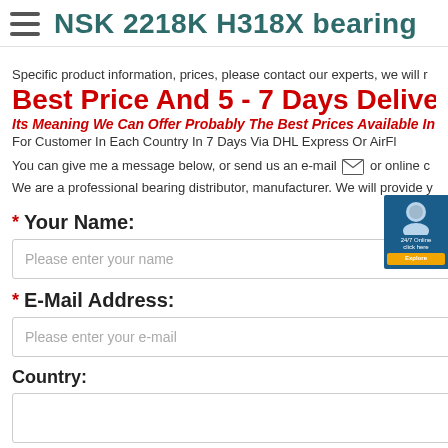NSK 2218K H318X bearing
Specific product information, prices, please contact our experts, we will r...
Best Price And 5 - 7 Days Deliver...
Its Meaning We Can Offer Probably The Best Prices Available In O...
For Customer In Each Country In 7 Days Via DHL Express Or AirFl...
You can give me a message below, or send us an e-mail or online c...
We are a professional bearing distributor, manufacturer. We will provide y...
* Your Name:
Please enter your name
* E-Mail Address:
Please enter your e-mail
Country: